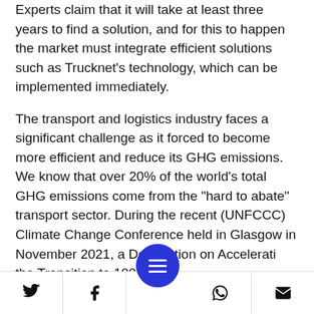Experts claim that it will take at least three years to find a solution, and for this to happen the market must integrate efficient solutions such as Trucknet's technology, which can be implemented immediately.
The transport and logistics industry faces a significant challenge as it forced to become more efficient and reduce its GHG emissions. We know that over 20% of the world's total GHG emissions come from the "hard to abate" transport sector. During the recent (UNFCCC) Climate Change Conference held in Glasgow in November 2021, a Declaration on Acceleration the Transition to 100%
Social share icons: Twitter, Facebook, Menu, WhatsApp, Email